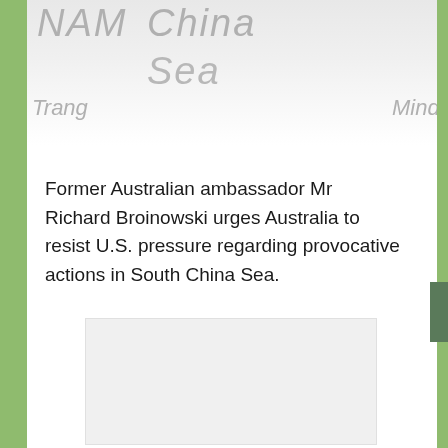[Figure (photo): Close-up photograph of a map showing text labels: 'Nam', 'China', 'Sea', 'Trang', 'Mind-' (partially visible) — depicting the South China Sea region on a map]
Former Australian ambassador Mr Richard Broinowski urges Australia to resist U.S. pressure regarding provocative actions in South China Sea.
[Figure (other): Embedded media player or video thumbnail placeholder — light grey rectangle]